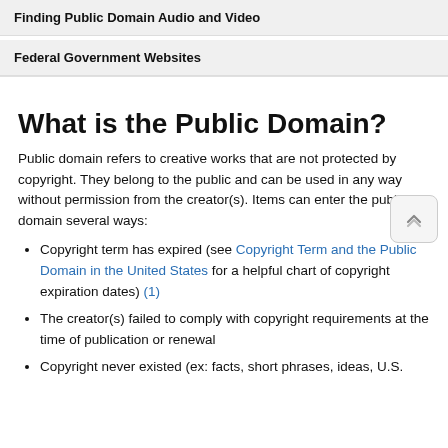Finding Public Domain Audio and Video
Federal Government Websites
What is the Public Domain?
Public domain refers to creative works that are not protected by copyright. They belong to the public and can be used in any way without permission from the creator(s). Items can enter the public domain several ways:
Copyright term has expired (see Copyright Term and the Public Domain in the United States for a helpful chart of copyright expiration dates) (1)
The creator(s) failed to comply with copyright requirements at the time of publication or renewal
Copyright never existed (ex: facts, short phrases, ideas, U.S.